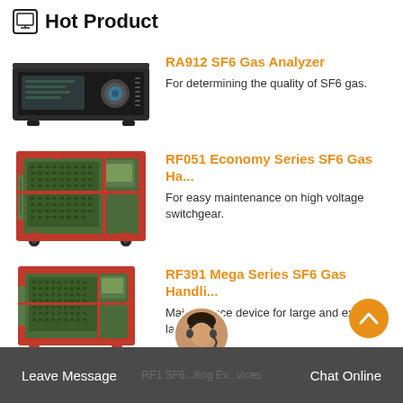Hot Product
[Figure (photo): RA912 SF6 Gas Analyzer device — rack-mount instrument with display panel and circular port]
RA912 SF6 Gas Analyzer
For determining the quality of SF6 gas.
[Figure (photo): RF051 Economy Series SF6 Gas Handling device — large green cabinet with red frame on wheels]
RF051 Economy Series SF6 Gas Ha...
For easy maintenance on high voltage switchgear.
[Figure (photo): RF391 Mega Series SF6 Gas Handling device — compact green unit with red frame on wheels]
RF391 Mega Series SF6 Gas Handli...
Maintenance device for large and extra large gas...
Leave Message   Chat Online